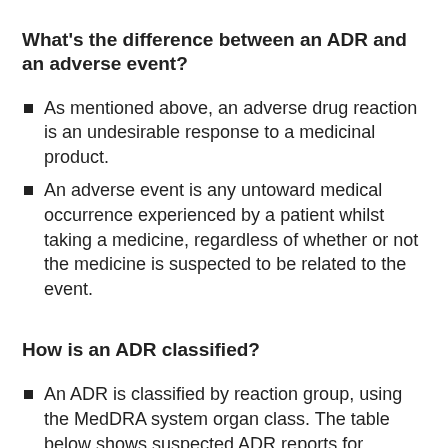What's the difference between an ADR and an adverse event?
As mentioned above, an adverse drug reaction is an undesirable response to a medicinal product.
An adverse event is any untoward medical occurrence experienced by a patient whilst taking a medicine, regardless of whether or not the medicine is suspected to be related to the event.
How is an ADR classified?
An ADR is classified by reaction group, using the MedDRA system organ class. The table below shows suspected ADR reports for Insulatard, classified by reaction group and age. Logically, the highest incidence of adverse reactions in this case is found in the 'metabolism and nutrition disorders' group. (Click